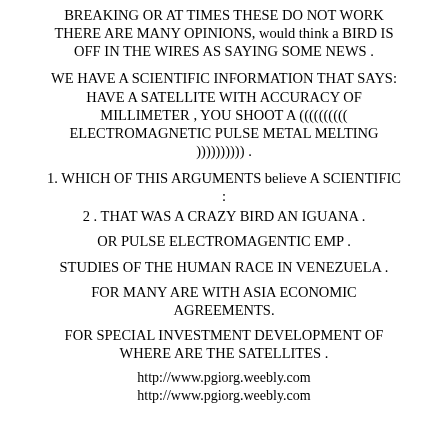BREAKING OR AT TIMES THESE DO NOT WORK THERE ARE MANY OPINIONS, would think a BIRD IS OFF IN THE WIRES AS SAYING SOME NEWS .
WE HAVE A SCIENTIFIC INFORMATION THAT SAYS: HAVE A SATELLITE WITH ACCURACY OF MILLIMETER , YOU SHOOT A (((((((((( ELECTROMAGNETIC PULSE METAL MELTING )))))))))) .
1. WHICH OF THIS ARGUMENTS believe A SCIENTIFIC :
2 . THAT WAS A CRAZY BIRD AN IGUANA .
OR PULSE ELECTROMAGENTIC EMP .
STUDIES OF THE HUMAN RACE IN VENEZUELA .
FOR MANY ARE WITH ASIA ECONOMIC AGREEMENTS.
FOR SPECIAL INVESTMENT DEVELOPMENT OF WHERE ARE THE SATELLITES .
http://www.pgiorg.weebly.com
http://www.pgiorg.weebly.com